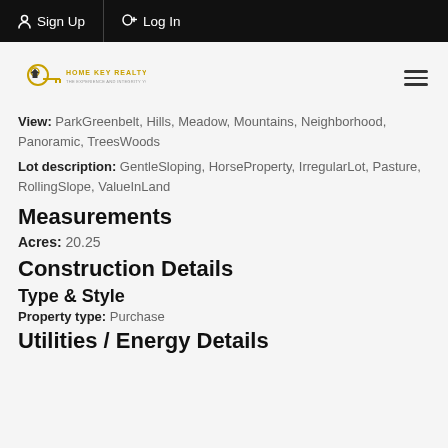Sign Up   Log In
[Figure (logo): Home Key Realty logo with golden key icon and company name]
View: ParkGreenbelt, Hills, Meadow, Mountains, Neighborhood, Panoramic, TreesWoods
Lot description: GentleSloping, HorseProperty, IrregularLot, Pasture, RollingSlope, ValueInLand
Measurements
Acres: 20.25
Construction Details
Type & Style
Property type: Purchase
Utilities / Energy Details